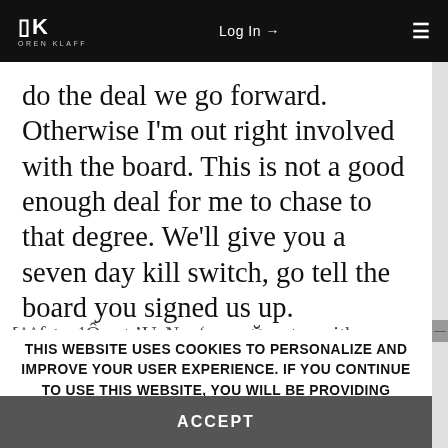OK OREN KLAFF | Log In → | ☰
do the deal we go forward. Otherwise I'm out right involved with the board. This is not a good enough deal for me to chase to that degree. We'll give you a seven day kill switch, go tell the board you signed us up.
THIS WEBSITE USES COOKIES TO PERSONALIZE AND IMPROVE YOUR USER EXPERIENCE. IF YOU CONTINUE TO USE THIS WEBSITE, YOU WILL BE PROVIDING CONSENT TO OUR USE OF COOKIES.
ACCEPT